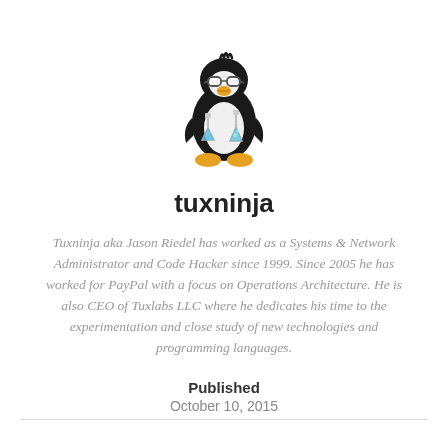[Figure (illustration): A cartoon Linux Tux penguin mascot wearing glasses and holding blue laboratory flasks/beakers]
tuxninja
Tuxninja aka Jason Riedel has worked as a Systems & Network Administrator and Code Hacker since 1999. Since 2005 he has worked for PayPal with a focus on Operations Architecture. He is also CEO of Tuxlabs LLC where he dedicates his time to the experimentation and close study of new technologies and programming languages.
Published
October 10, 2015